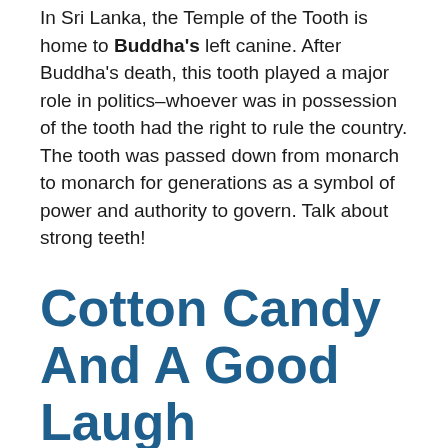In Sri Lanka, the Temple of the Tooth is home to Buddha's left canine. After Buddha's death, this tooth played a major role in politics–whoever was in possession of the tooth had the right to rule the country. The tooth was passed down from monarch to monarch for generations as a symbol of power and authority to govern. Talk about strong teeth!
Cotton Candy And A Good Laugh
Some dentists throughout history put their names on the map as inventors. William